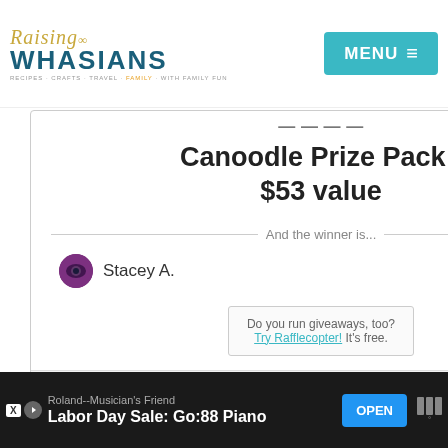[Figure (screenshot): Raising Whasians blog header with logo on left and teal MENU button on right]
[Figure (screenshot): Rafflecopter giveaway widget showing 'Canoodle Prize Pack - $53 value' with winner 'Stacey A.' announced, and a 'Try Rafflecopter' promo box. Powered by Rafflecopter footer.]
[Figure (screenshot): Side action bar with teal heart icon and number 21, and a share icon below]
[Figure (screenshot): Bottom advertisement banner for Roland--Musician's Friend Labor Day Sale: Go:88 Piano with OPEN button and audio brand logo]